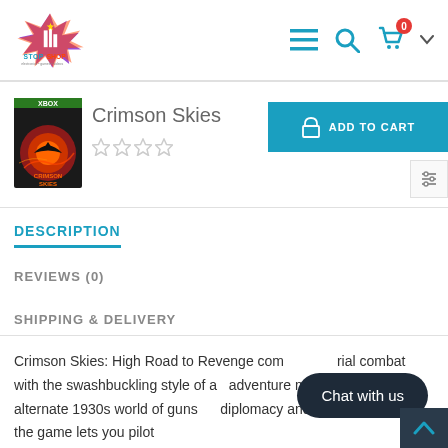Stop Shop — navigation header
Crimson Skies
[Figure (photo): Crimson Skies Xbox game cover art — fiery aerial combat scene]
DESCRIPTION
REVIEWS (0)
SHIPPING & DELIVERY
Crimson Skies: High Road to Revenge combines aerial combat with the swashbuckling style of a classic adventure movie. Set in an alternate 1930s world of gunships, diplomacy and sinister intrigue, the game lets you pilot